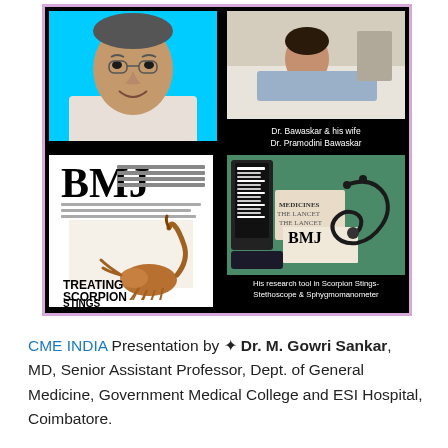[Figure (photo): Collage of photos: top-left shows Dr. Bawaskar portrait photo against cyan background; top-right shows Dr. Bawaskar's wife Dr. Pramodini Bawaskar lying in bed; bottom-left shows BMJ magazine cover 'Treating Scorpion Stings' with scorpion image; bottom-right shows research tools including stethoscope, sphygmomanometer, Lancet and BMJ journals.]
Dr. Bawaskar & his wife Dr. Pramodini Bawaskar
His research tool in Scorpion Stings- Stethoscope & Sphygmomanometer
CME INDIA Presentation by ✦ Dr. M. Gowri Sankar, MD, Senior Assistant Professor, Dept. of General Medicine, Government Medical College and ESI Hospital, Coimbatore.